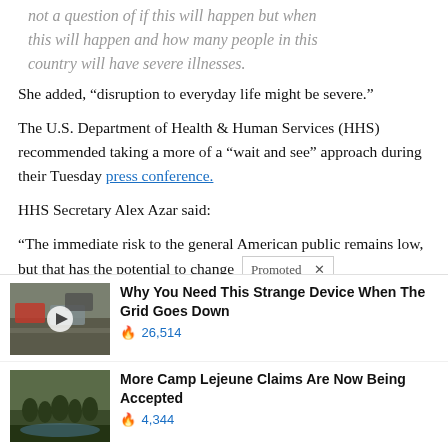not a question of if this will happen but when this will happen and how many people in this country will have severe illnesses.
She added, “disruption to everyday life might be severe.”
The U.S. Department of Health & Human Services (HHS) recommended taking a more of a “wait and see” approach during their Tuesday press conference.
HHS Secretary Alex Azar said:
“The immediate risk to the general American public remains low, but that has the potential to change
[Figure (infographic): Promoted ad widget with two ad items: 1) 'Why You Need This Strange Device When The Grid Goes Down' with 26,514 views, thumbnail of parking lot scene with play button. 2) 'More Camp Lejeune Claims Are Now Being Accepted' with 4,344 views, thumbnail of soldiers.]